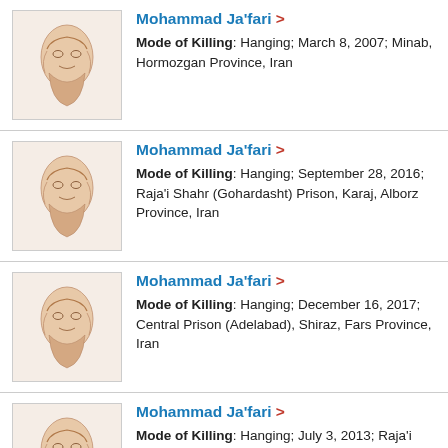Mohammad Ja'fari > Mode of Killing: Hanging; March 8, 2007; Minab, Hormozgan Province, Iran
Mohammad Ja'fari > Mode of Killing: Hanging; September 28, 2016; Raja'i Shahr (Gohardasht) Prison, Karaj, Alborz Province, Iran
Mohammad Ja'fari > Mode of Killing: Hanging; December 16, 2017; Central Prison (Adelabad), Shiraz, Fars Province, Iran
Mohammad Ja'fari > Mode of Killing: Hanging; July 3, 2013; Raja'i Shahr (Gohardasht) Prison, Karaj, Alborz Province, Iran
Mohammad Ja'far Ja'fari >